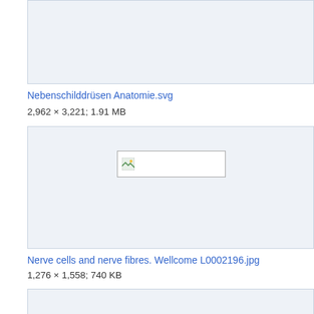[Figure (screenshot): Cropped image placeholder box with light blue-grey background at top of page]
Nebenschilddrüsen Anatomie.svg
2,962 × 3,221; 1.91 MB
[Figure (screenshot): Large image placeholder box with broken image icon thumbnail centered]
Nerve cells and nerve fibres. Wellcome L0002196.jpg
1,276 × 1,558; 740 KB
[Figure (screenshot): Image placeholder box with broken image icon thumbnail at bottom]